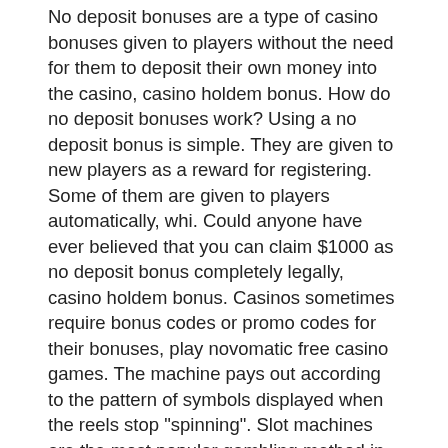No deposit bonuses are a type of casino bonuses given to players without the need for them to deposit their own money into the casino, casino holdem bonus. How do no deposit bonuses work? Using a no deposit bonus is simple. They are given to new players as a reward for registering. Some of them are given to players automatically, whi. Could anyone have ever believed that you can claim $1000 as no deposit bonus completely legally, casino holdem bonus. Casinos sometimes require bonus codes or promo codes for their bonuses, play novomatic free casino games. The machine pays out according to the pattern of symbols displayed when the reels stop &quot;spinning&quot;. Slot machines are the most popular gambling method in. Slot machines aren't the highest-paying games on the casino floor. We look at over 25 types if slot machines across the best pa online casino and nj online casino sites and we.